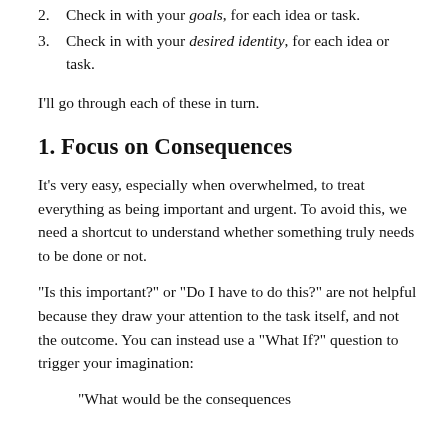2. Check in with your goals, for each idea or task.
3. Check in with your desired identity, for each idea or task.
I'll go through each of these in turn.
1. Focus on Consequences
It’s very easy, especially when overwhelmed, to treat everything as being important and urgent. To avoid this, we need a shortcut to understand whether something truly needs to be done or not.
“Is this important?” or “Do I have to do this?” are not helpful because they draw your attention to the task itself, and not the outcome. You can instead use a “What If?” question to trigger your imagination:
“What would be the consequences